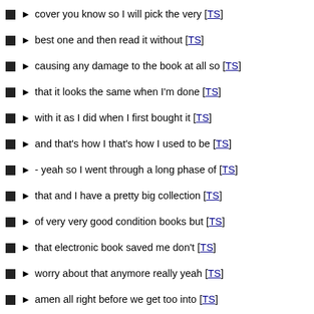cover you know so I will pick the very [TS]
best one and then read it without [TS]
causing any damage to the book at all so [TS]
that it looks the same when I'm done [TS]
with it as I did when I first bought it [TS]
and that's how I that's how I used to be [TS]
- yeah so I went through a long phase of [TS]
that and I have a pretty big collection [TS]
of very very good condition books but [TS]
that electronic book saved me don't [TS]
worry about that anymore really yeah [TS]
amen all right before we get too into [TS]